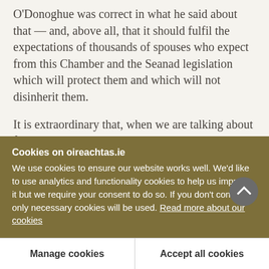O'Donoghue was correct in what he said about that — and, above all, that it should fulfil the expectations of thousands of spouses who expect from this Chamber and the Seanad legislation which will protect them and which will not disinherit them.
It is extraordinary that, when we are talking about fault and dealing in as caring and as solid a way as possible with regard to marriage breakdown and the paramount importance of children's rights, the Minister and his colleagues should suggest that
Cookies on oireachtas.ie
We use cookies to ensure our website works well. We'd like to use analytics and functionality cookies to help us improve it but we require your consent to do so. If you don't consent, only necessary cookies will be used. Read more about our cookies
Manage cookies
Accept all cookies